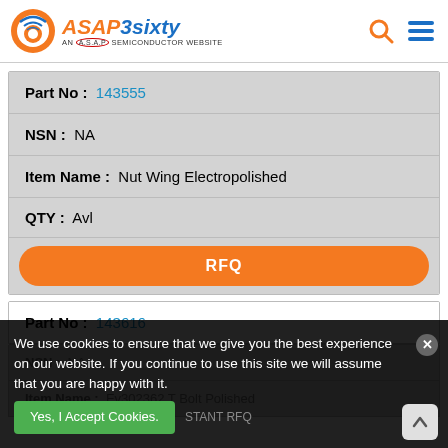[Figure (logo): ASAP3sixty logo with orange and blue antenna icon, orange italic text 'ASAP3sixty', subtitle 'AN A.S.A.P SEMICONDUCTOR WEBSITE', and search/menu icons on right]
| Part No : | 143555 |
| NSN : | NA |
| Item Name : | Nut Wing Electropolished |
| QTY : | Avl |
| RFQ |  |
| Part No : | 143616 |
| NSN : | NA |
| Item Name : | Ev302362 T Bolt Polished |
We use cookies to ensure that we give you the best experience on our website. If you continue to use this site we will assume that you are happy with it.
Yes, I Accept Cookies.